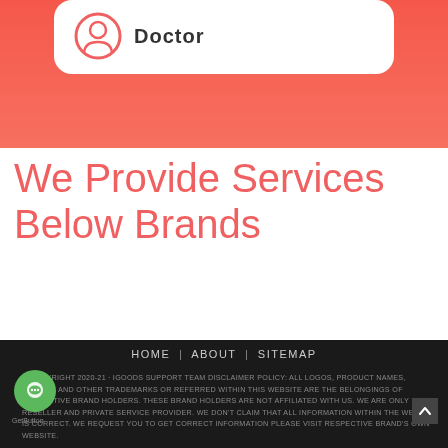[Figure (screenshot): Top salmon/coral gradient section with a white rounded card showing a circular icon and the word 'Doctor']
We Provide Services Below Brands
[Figure (infographic): Carousel navigation: left arrow, 9 pagination dots (second active), right arrow]
HOME | ABOUT | SITEMAP
© COPYRIGHT 2020-21 · IGOODS SUPPORT TEAM DISCLAIMER POLICY: ALL LOGOS, PRODUCT NAMES, BRANDS, AND OTHER TRADEMARKS OR REFERRED WITHIN THIS WEBSITE ARE THE BELONGINGS OF RESPECTIVE BRAND HOLDERS. THESE BRAND HOLDERS ARE NOT AFFILIATED WITH US. WE ARE ONLY RESELLER AND PRIVATE SERVICE PROVIDER. WE DON'T CLAIM THAT ALL INFORMATION WITHIN THE WEBSITE IS CORRECT. WE REQUEST YOU TO GET CORRECT INFORMATION PLEASE VISIT RESPECTIVE BRAND'S OWN WEBSITE.